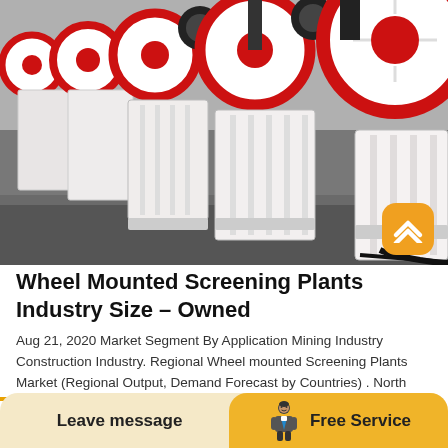[Figure (photo): Industrial jaw crusher machines lined up in a row, white/cream colored with red and black flywheels, photographed in a factory setting]
Wheel Mounted Screening Plants Industry Size – Owned
Aug 21, 2020 Market Segment By Application Mining Industry Construction Industry. Regional Wheel mounted Screening Plants Market (Regional Output, Demand Forecast by Countries) . North America (United States, Canada, Mexico) South America (Brazil, Argentina,…